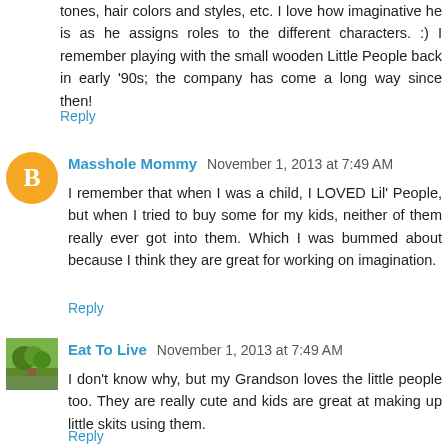tones, hair colors and styles, etc. I love how imaginative he is as he assigns roles to the different characters. :) I remember playing with the small wooden Little People back in early '90s; the company has come a long way since then!
Reply
Masshole Mommy  November 1, 2013 at 7:49 AM
I remember that when I was a child, I LOVED Lil' People, but when I tried to buy some for my kids, neither of them really ever got into them. Which I was bummed about because I think they are great for working on imagination.
Reply
Eat To Live  November 1, 2013 at 7:49 AM
I don't know why, but my Grandson loves the little people too. They are really cute and kids are great at making up little skits using them.
Reply